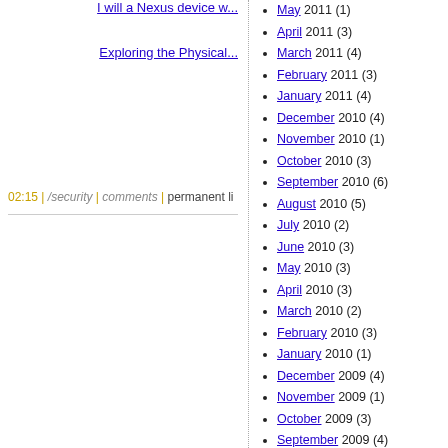I will a Nexus device w...
Exploring the Physical...
02:15 | /security | comments | permanent li...
May 2011 (1)
April 2011 (3)
March 2011 (4)
February 2011 (3)
January 2011 (4)
December 2010 (4)
November 2010 (1)
October 2010 (3)
September 2010 (6)
August 2010 (5)
July 2010 (2)
June 2010 (3)
May 2010 (3)
April 2010 (3)
March 2010 (2)
February 2010 (3)
January 2010 (1)
December 2009 (4)
November 2009 (1)
October 2009 (3)
September 2009 (4)
August 2009 (5)
July 2009 (3)
June 2009 (2)